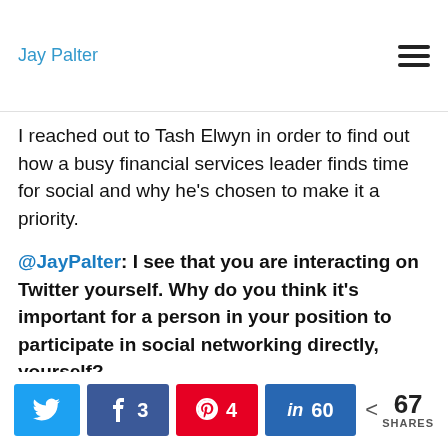Jay Palter
I reached out to Tash Elwyn in order to find out how a busy financial services leader finds time for social and why he's chosen to make it a priority.
@JayPalter: I see that you are interacting on Twitter yourself. Why do you think it's important for a person in your position to participate in social networking directly, yourself?